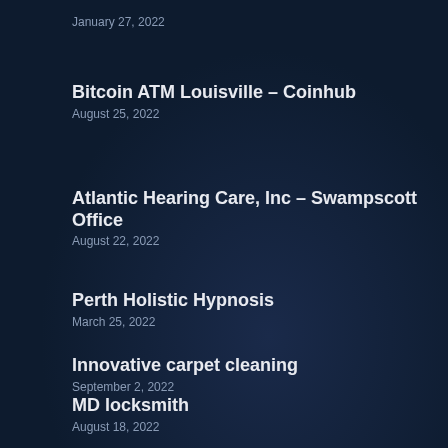January 27, 2022
Bitcoin ATM Louisville – Coinhub
August 25, 2022
Atlantic Hearing Care, Inc – Swampscott Office
August 22, 2022
Perth Holistic Hypnosis
March 25, 2022
Innovative carpet cleaning
September 2, 2022
MD locksmith
August 18, 2022